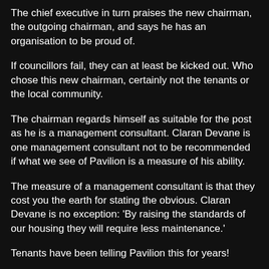The chief executive in turn praises the new chairman, the outgoing chairman, and says he has an organisation to be proud of.
If councillors fail, they can at least be kicked out. Who chose this new chairman, certainly not the tenants or the local community.
The chairman regards himself as suitable for the post as he is a management consultant. Claran Devane is one management consultant not to be recommended if what we see of Pavilion is a measure of his ability.
The measure of a management consultant is that they cost you the earth for stating the obvious. Claran Devane is no exception: 'By raising the standards of our housing they will require less maintenance.'
Tenants have been telling Pavilion this for years!
Tenants have had enough of consultants, carpet baggers who criss-cross the country feeding off the corpse of social housing.
Pass the sick bag please.